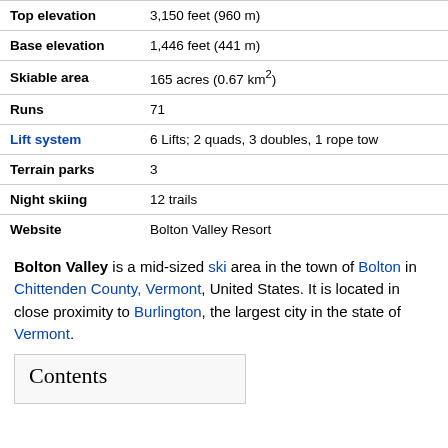| Property | Value |
| --- | --- |
| Top elevation | 3,150 feet (960 m) |
| Base elevation | 1,446 feet (441 m) |
| Skiable area | 165 acres (0.67 km²) |
| Runs | 71 |
| Lift system | 6 Lifts; 2 quads, 3 doubles, 1 rope tow |
| Terrain parks | 3 |
| Night skiing | 12 trails |
| Website | Bolton Valley Resort |
Bolton Valley is a mid-sized ski area in the town of Bolton in Chittenden County, Vermont, United States. It is located in close proximity to Burlington, the largest city in the state of Vermont.
Contents